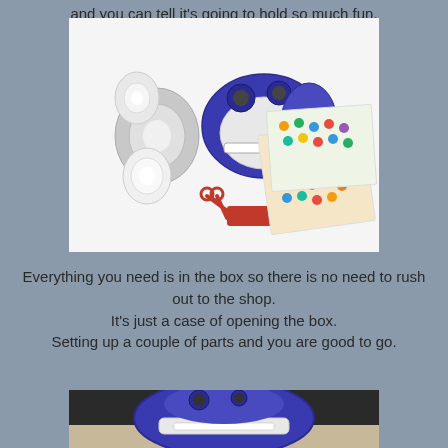and you can tell it's going to hold so much fun.
[Figure (photo): A label maker/sticker machine kit with blue and white device, tape rolls, scissors, red scraper, and colorful sticker sheets spread out]
Everything you need is in the box so there is no need to rush out to the shop. It's just a case of opening the box. Setting up a couple of parts and you are good to go.
[Figure (photo): Close-up of a blue and white label maker/sticker machine on a desk surface]